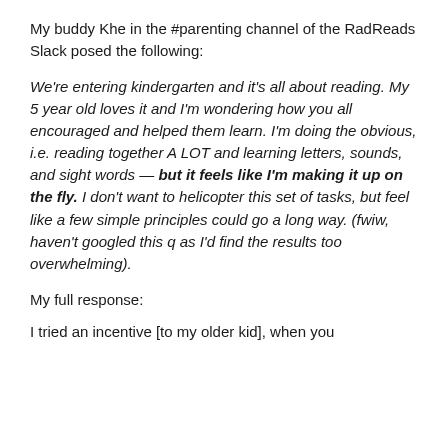My buddy Khe in the #parenting channel of the RadReads Slack posed the following:
We're entering kindergarten and it's all about reading. My 5 year old loves it and I'm wondering how you all encouraged and helped them learn. I'm doing the obvious, i.e. reading together A LOT and learning letters, sounds, and sight words — but it feels like I'm making it up on the fly. I don't want to helicopter this set of tasks, but feel like a few simple principles could go a long way. (fwiw, haven't googled this q as I'd find the results too overwhelming).
My full response:
I tried an incentive [to my older kid], when you...